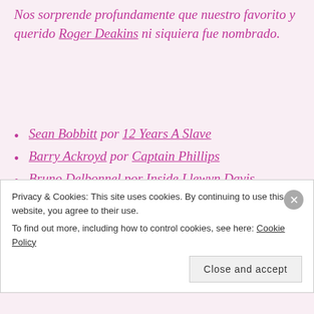Nos sorprende profundamente que nuestro favorito y querido Roger Deakins ni siquiera fue nombrado.
Sean Bobbitt por 12 Years A Slave
Barry Ackroyd por Captain Phillips
Bruno Delbonnel por Inside Llewyn Davis
Phedon Papamichael por Nebraska
Privacy & Cookies: This site uses cookies. By continuing to use this website, you agree to their use. To find out more, including how to control cookies, see here: Cookie Policy